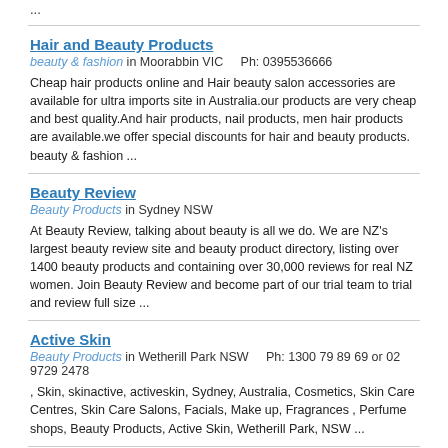...
Hair and Beauty Products
beauty & fashion in Moorabbin VIC    Ph: 0395536666
Cheap hair products online and Hair beauty salon accessories are available for ultra imports site in Australia.our products are very cheap and best quality.And hair products, nail products, men hair products are available.we offer special discounts for hair and beauty products. beauty & fashion ...
Beauty Review
Beauty Products in Sydney NSW
At Beauty Review, talking about beauty is all we do. We are NZ's largest beauty review site and beauty product directory, listing over 1400 beauty products and containing over 30,000 reviews for real NZ women. Join Beauty Review and become part of our trial team to trial and review full size ...
Active Skin
Beauty Products in Wetherill Park NSW    Ph: 1300 79 89 69 or 02 9729 2478
, Skin, skinactive, activeskin, Sydney, Australia, Cosmetics, Skin Care Centres, Skin Care Salons, Facials, Make up, Fragrances , Perfume shops, Beauty Products, Active Skin, Wetherill Park, NSW ...